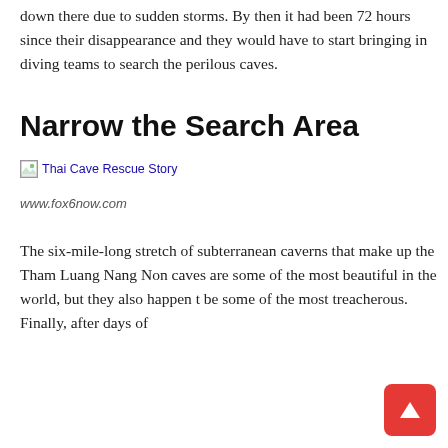down there due to sudden storms. By then it had been 72 hours since their disappearance and they would have to start bringing in diving teams to search the perilous caves.
Narrow the Search Area
[Figure (photo): Broken image placeholder labeled 'Thai Cave Rescue Story']
www.fox6now.com
The six-mile-long stretch of subterranean caverns that make up the Tham Luang Nang Non caves are some of the most beautiful in the world, but they also happen to be some of the most treacherous. Finally, after days of